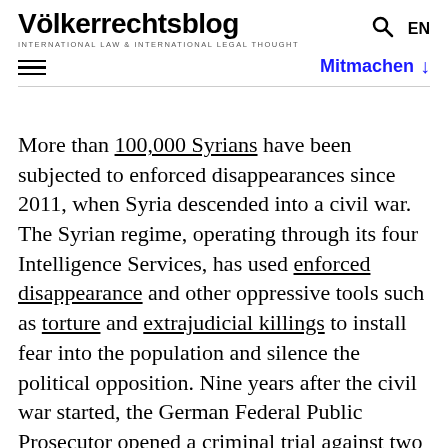Völkerrechtsblog — INTERNATIONAL LAW & INTERNATIONAL LEGAL THOUGHT
More than 100,000 Syrians have been subjected to enforced disappearances since 2011, when Syria descended into a civil war. The Syrian regime, operating through its four Intelligence Services, has used enforced disappearance and other oppressive tools such as torture and extrajudicial killings to install fear into the population and silence the political opposition. Nine years after the civil war started, the German Federal Public Prosecutor opened a criminal trial against two former members of President Bashar Al Assad's security apparatus before the Higher Regional Court ('the Court') in Koblenz, Germany. They